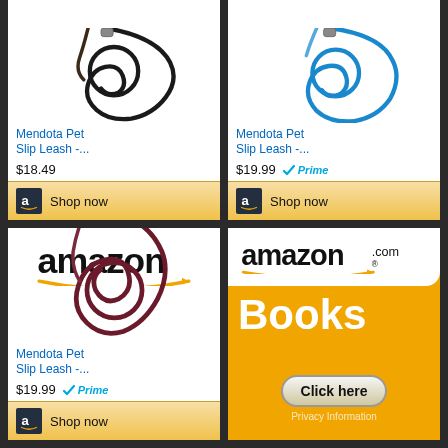[Figure (screenshot): Amazon ad: Mendota Pet Slip Leash product card with black leash image, price $18.49, Shop now button]
[Figure (screenshot): Amazon ad: Mendota Pet Slip Leash product card with blue leash image, price $19.99 with Prime badge, Shop now button]
[Figure (screenshot): Amazon ad: Mendota Pet Slip Leash product card with Amazon logo, dark red/maroon leash image, price $19.99 with Prime badge, Shop now button]
[Figure (screenshot): Amazon.com Books ad banner with orange background, Books text, Click here button, Privacy Information link]